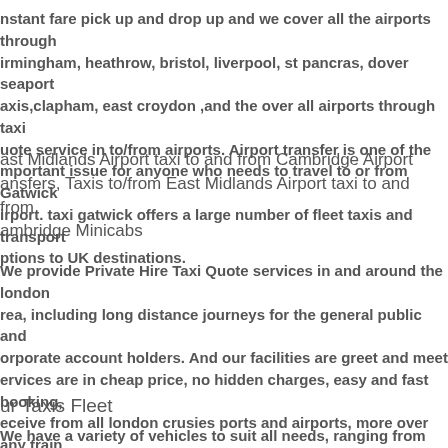nstant fare pick up and drop up and we cover all the airports through irmingham, heathrow, bristol, liverpool, st pancras, dover seaport axis,clapham, east croydon ,and the over all airports through taxi uote service in to/from airports. Airport transfer is one of the mportant issue for anyone who needs to travel to or from Gatwick irport. taxi gatwick offers a large number of fleet taxis and transport ptions to UK destinations.
ast Midlands Airport taxi to and from Cambridge Airport ansfers, Taxis to/from East Midlands Airport taxi to and from ambridge Minicabs
We provide Private Hire Taxi Quote services in and around the london rea, including long distance journeys for the general public and orporate account holders. And our facilities are greet and meet ervices are in cheap price, no hidden charges, easy and fast booking, eceive from all london crusies ports and airports, more over any train nd tube stations in cities.
ur Taxis Fleet
We have a variety of vehicles to suit all needs, ranging from normal